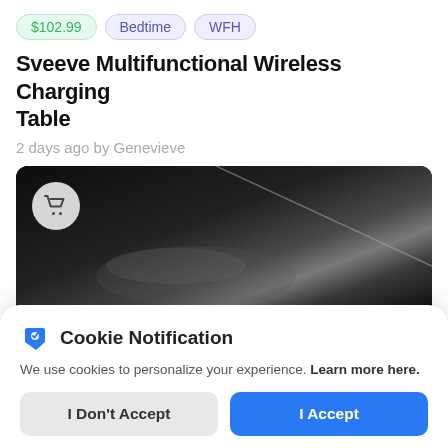$102.99   Bedtime   WFH
Sveeve Multifunctional Wireless Charging Table
2 days ago by Genevieve
[Figure (photo): Dark close-up photo of a wireless charging table surface with a shopping cart badge icon in the top-left corner]
Cookie Notification
We use cookies to personalize your experience. Learn more here.
I Don't Accept
I Accept